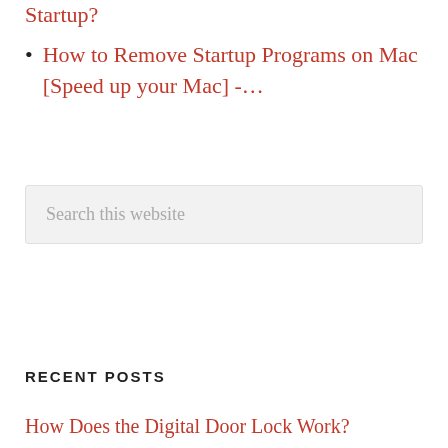Startup?
How to Remove Startup Programs on Mac [Speed up your Mac] -….
Search this website
RECENT POSTS
How Does the Digital Door Lock Work?